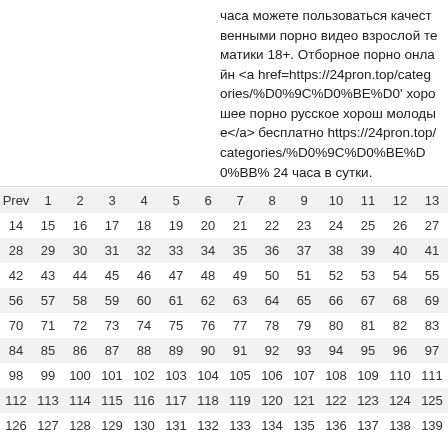часа можете пользоваться качественными порно видео взрослой тематики 18+. Отборное порно онлайн <a href=https://24pron.top/categories/%D0%9C%D0%BE%D0' хорошее порно русское хорош молодые</a> бесплатно https://24pron.top/categories/%D0%9C%D0%BE%D0%BB% 24 часа в сутки.
| Prev | 1 | 2 | 3 | 4 | 5 | 6 | 7 | 8 | 9 | 10 | 11 | 12 | 13 |
| --- | --- | --- | --- | --- | --- | --- | --- | --- | --- | --- | --- | --- | --- |
| 14 | 15 | 16 | 17 | 18 | 19 | 20 | 21 | 22 | 23 | 24 | 25 | 26 | 27 |
| 28 | 29 | 30 | 31 | 32 | 33 | 34 | 35 | 36 | 37 | 38 | 39 | 40 | 41 |
| 42 | 43 | 44 | 45 | 46 | 47 | 48 | 49 | 50 | 51 | 52 | 53 | 54 | 55 |
| 56 | 57 | 58 | 59 | 60 | 61 | 62 | 63 | 64 | 65 | 66 | 67 | 68 | 69 |
| 70 | 71 | 72 | 73 | 74 | 75 | 76 | 77 | 78 | 79 | 80 | 81 | 82 | 83 |
| 84 | 85 | 86 | 87 | 88 | 89 | 90 | 91 | 92 | 93 | 94 | 95 | 96 | 97 |
| 98 | 99 | 100 | 101 | 102 | 103 | 104 | 105 | 106 | 107 | 108 | 109 | 110 | 111 |
| 112 | 113 | 114 | 115 | 116 | 117 | 118 | 119 | 120 | 121 | 122 | 123 | 124 | 125 |
| 126 | 127 | 128 | 129 | 130 | 131 | 132 | 133 | 134 | 135 | 136 | 137 | 138 | 139 |